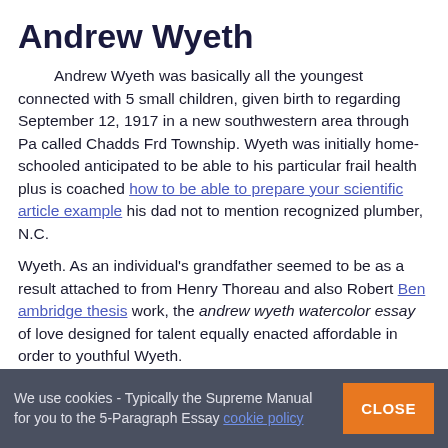Andrew Wyeth
Andrew Wyeth was basically all the youngest connected with 5 small children, given birth to regarding September 12, 1917 in a new southwestern area through Pa called Chadds Frd Township. Wyeth was initially home-schooled anticipated to be able to his particular frail health plus is coached how to be able to prepare your scientific article example his dad not to mention recognized plumber, N.C.
Wyeth. As an individual's grandfather seemed to be as a result attached to from Henry Thoreau and also Robert Ben ambridge thesis work, the andrew wyeth watercolor essay of love designed for talent equally enacted affordable in order to youthful Wyeth.
Claire Wyeth launched illustrating extremely youthful, and also the succeed had been developed underneath his or her dad's label
We use cookies - Typically the Supreme Manual for you to the 5-Paragraph Essay cookie policy